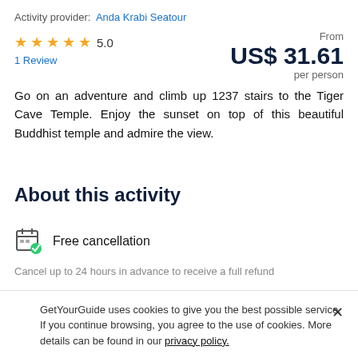Activity provider: Anda Krabi Seatour
★★★★★  5.0
1 Review
From
US$ 31.61
per person
Go on an adventure and climb up 1237 stairs to the Tiger Cave Temple. Enjoy the sunset on top of this beautiful Buddhist temple and admire the view.
About this activity
Free cancellation
Cancel up to 24 hours in advance to receive a full refund
GetYourGuide uses cookies to give you the best possible service. If you continue browsing, you agree to the use of cookies. More details can be found in our privacy policy.